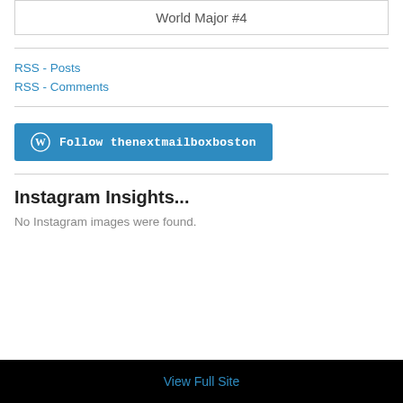World Major #4
RSS - Posts
RSS - Comments
[Figure (other): Follow thenextmailboxboston button with WordPress logo]
Instagram Insights...
No Instagram images were found.
View Full Site